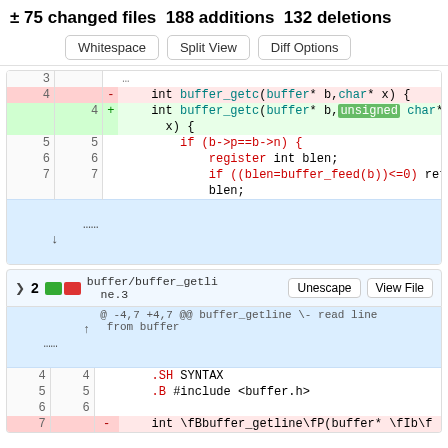± 75 changed files  188 additions  132 deletions
[Figure (screenshot): Diff view buttons: Whitespace, Split View, Diff Options]
[Figure (screenshot): Code diff for buffer_getc showing removed line 'int buffer_getc(buffer* b,char* x) {' and added line 'int buffer_getc(buffer* b,unsigned char* x) {' with context lines 5-7]
[Figure (screenshot): File header for buffer/buffer_getline.3 showing 2 changes with Unescape and View File buttons]
[Figure (screenshot): Diff hunk header '@ -4,7 +4,7 @@ buffer_getline \- read line from buffer' with context lines 4-7]